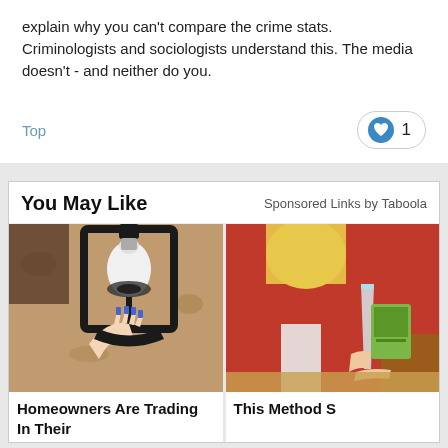explain why you can't compare the crime stats. Criminologists and sociologists understand this. The media doesn't - and neither do you.
Top
[Figure (other): Like button with heart icon showing count of 1]
You May Like
Sponsored Links by Taboola
[Figure (photo): A hand with blue nail polish installing or adjusting a white security camera light bulb in a black outdoor lantern fixture mounted on a textured wall]
Homeowners Are Trading In Their
[Figure (photo): A woman in a red sweater holding a glass with a drink and what appears to be a juice box on a table]
This Method S